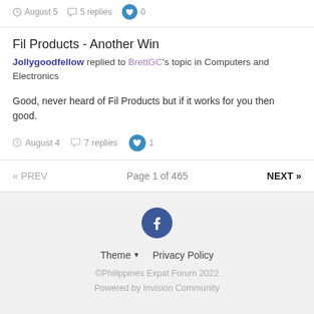August 5 · 5 replies · 0
Fil Products - Another Win
Jollygoodfellow replied to BrettGC's topic in Computers and Electronics
Good, never heard of Fil Products but if it works for you then good.
August 4 · 7 replies · 1
« PREV   Page 1 of 465   NEXT »
[Figure (logo): Facebook logo circle icon]
Theme ▼   Privacy Policy
©Philippines Expat Forum 2022
Powered by Invision Community